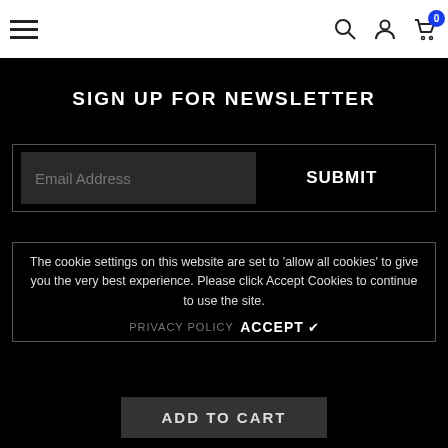Navigation bar with hamburger menu, search, account, and cart icons
SIGN UP FOR NEWSLETTER
Email Address  SUBMIT
The cookie settings on this website are set to 'allow all cookies' to give you the very best experience. Please click Accept Cookies to continue to use the site.
PRIVACY POLICY  ACCEPT ✔
ADD TO CART